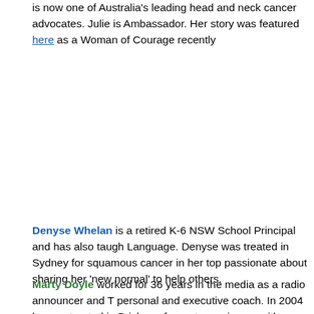is now one of Australia's leading head and neck cancer advocates. Julie is Ambassador. Her story was featured here as a Woman of Courage recently
Denyse Whelan is a retired K-6 NSW School Principal and has also taught Language. Denyse was treated in Sydney for squamous cancer in her top passionate about sharing her 'new normal' to help others.
Marty Doyle worked for 36 years in the media as a radio announcer and T personal and executive coach. In 2004 he was treated in Brisbane for meta carcinoma with cancer of unknown primary and has been a passionate adv